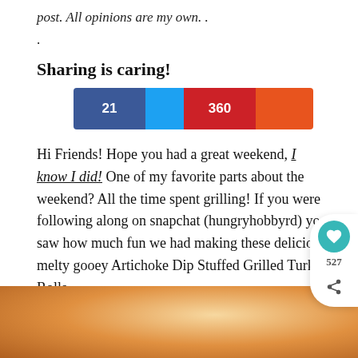post. All opinions are my own. .
.
Sharing is caring!
[Figure (infographic): Share bar with Facebook (21), Twitter (blue), Pinterest (360), and an orange section]
Hi Friends!  Hope you had a great weekend, I know I did!  One of my favorite parts about the weekend?  All the time spent grilling! If you were following along on snapchat (hungryhobbyrd) you saw how much fun we had making these delicio melty gooey Artichoke Dip Stuffed Grilled Turke Rolls.
[Figure (photo): Food photo showing grilled item at the bottom of the page]